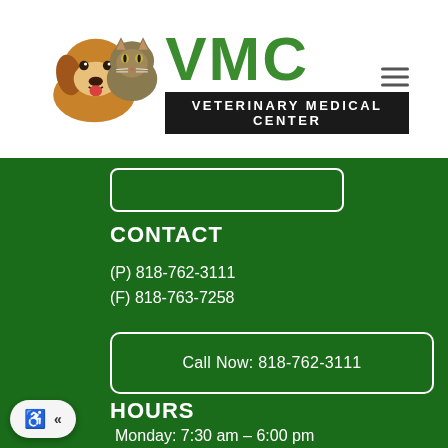[Figure (logo): VMC Veterinary Medical Center logo with dog and cat photos and large green VMC letters above a black bar reading VETERINARY MEDICAL CENTER]
CONTACT
(P) 818-762-3111
(F) 818-763-7258
Call Now: 818-762-3111
HOURS
Monday: 7:30 am – 6:00 pm
Tuesday: 7:30 am – 6:00 pm